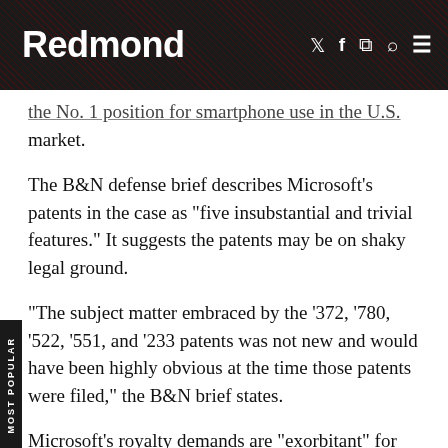Redmond
the No. 1 position for smartphone use in the U.S. market.
The B&N defense brief describes Microsoft's patents in the case as "five insubstantial and trivial features." It suggests the patents may be on shaky legal ground.
"The subject matter embraced by the '372, '780, '522, '551, and '233 patents was not new and would have been highly obvious at the time those patents were filed," the B&N brief states.
Microsoft's royalty demands are "exorbitant" for Nook, according to the B&N brief. For the Nook Color Tablet, the royalty charges are double what Microsoft charges for Windows Phone 7, it adds. The brief bluntly describes Microsoft's aims in the